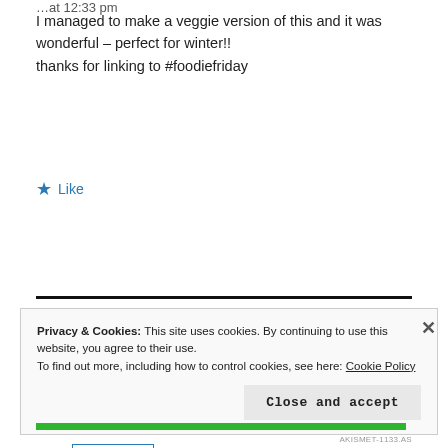I managed to make a veggie version of this and it was wonderful – perfect for winter!! thanks for linking to #foodiefriday
★ Like
Reply
Privacy & Cookies: This site uses cookies. By continuing to use this website, you agree to their use. To find out more, including how to control cookies, see here: Cookie Policy
Close and accept